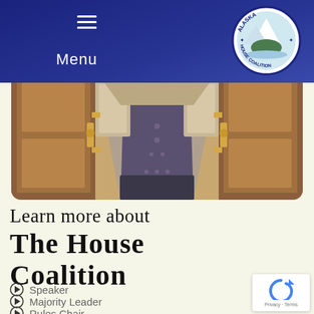Menu
[Figure (logo): Alaska House Coalition circular seal/logo with mountain and water scene]
[Figure (photo): Interior corridor of a building with open wooden doors leading down a hallway with patterned carpet]
Learn more about The House Coalition
Speaker
Majority Leader
Rules Chair
[Figure (other): reCAPTCHA widget badge with Privacy and Terms text]